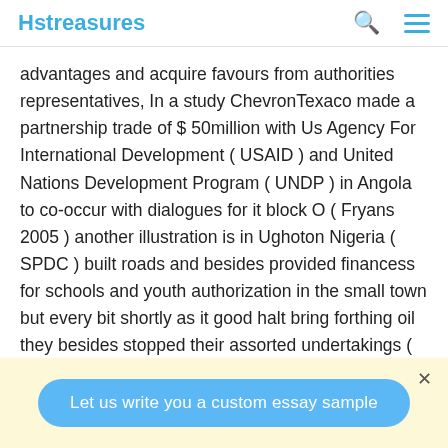Hstreasures
advantages and acquire favours from authorities representatives, In a study ChevronTexaco made a partnership trade of $ 50million with Us Agency For International Development ( USAID ) and United Nations Development Program ( UNDP ) in Angola to co-occur with dialogues for it block O ( Fryans 2005 ) another illustration is in Ughoton Nigeria ( SPDC ) built roads and besides provided financess for schools and youth authorization in the small town but every bit shortly as it good halt bring forthing oil they besides stopped their assorted undertakings ( okunmadewa et Al 2002, p 63 ) . it shows that it was non meant to profit to society but the
Let us write you a custom essay sample